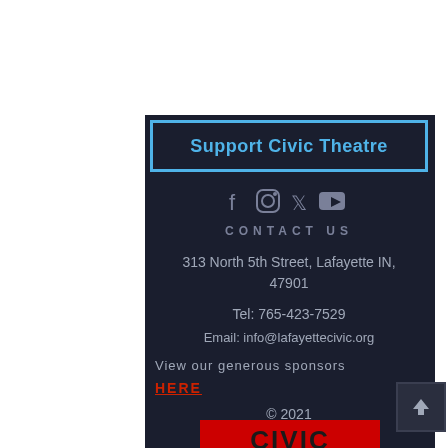Support Civic Theatre
[Figure (infographic): Social media icons: Facebook, Instagram, Twitter, YouTube in grey]
CONTACT US
313 North 5th Street, Lafayette IN, 47901
Tel: 765-423-7529
Email: info@lafayettecivic.org
View our generous sponsors
HERE
© 2021
[Figure (logo): CIVIC theatre logo with red background and 'see yourself here' tagline]